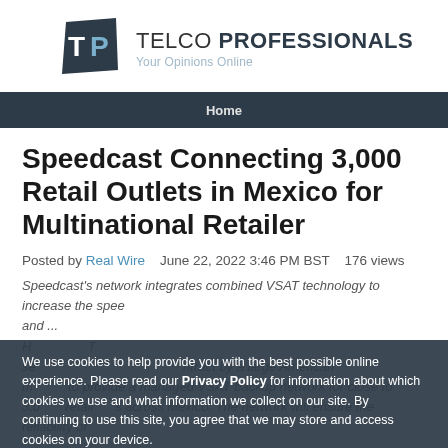[Figure (logo): Telco Professionals logo with dark navy TP icon and text 'TELCO PROFESSIONALS — Your Opinions Online']
Home
Speedcast Connecting 3,000 Retail Outlets in Mexico for Multinational Retailer
Posted by Real Wire   June 22, 2022 3:46 PM BST   176 views
Speedcast's network integrates combined VSAT technology to increase the speed and...
We use cookies to help provide you with the best possible online experience. Please read our Privacy Policy for information about which cookies we use and what information we collect on our site. By continuing to use this site, you agree that we may store and access cookies on your device.
ACCEPT POLICY